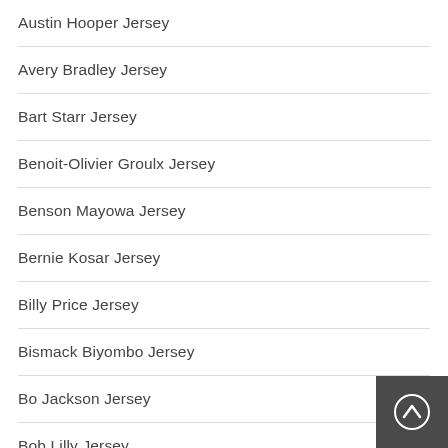Austin Hooper Jersey
Avery Bradley Jersey
Bart Starr Jersey
Benoit-Olivier Groulx Jersey
Benson Mayowa Jersey
Bernie Kosar Jersey
Billy Price Jersey
Bismack Biyombo Jersey
Bo Jackson Jersey
Bob Lilly Jersey